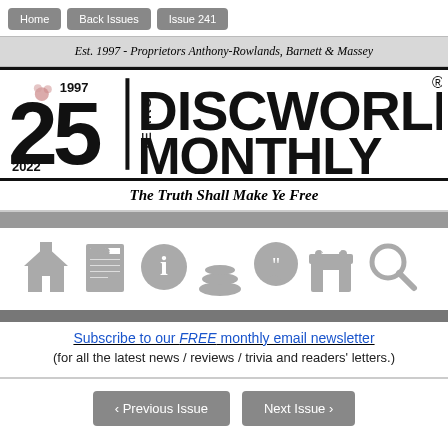Home | Back Issues | Issue 241
Est. 1997 - Proprietors Anthony-Rowlands, Barnett & Massey
[Figure (logo): Discworld Monthly 25 Years (1997-2022) logo with large '25' on left, 'Years' vertical text, divider bar, and 'DISCWORLD MONTHLY' text on right with registered trademark symbol]
The Truth Shall Make Ye Free
[Figure (infographic): Row of 7 navigation icons: home, news, info, books/stack, speech bubble with quote marks, shop, and search/magnifying glass]
Subscribe to our FREE monthly email newsletter (for all the latest news / reviews / trivia and readers' letters.)
‹ Previous Issue | Next Issue ›